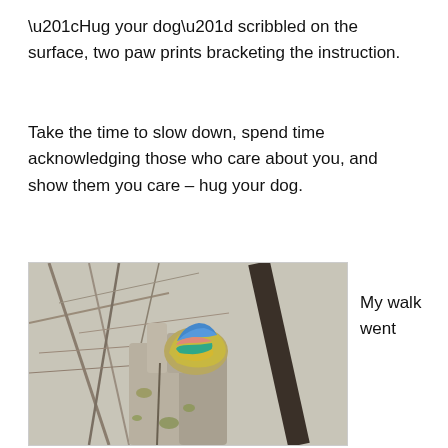“Hug your dog” scribbled on the surface, two paw prints bracketing the instruction.
Take the time to slow down, spend time acknowledging those who care about you, and show them you care – hug your dog.
[Figure (photo): A painted rock with blue, pink, and teal colors resting in a forked branch of a weathered tree trunk, surrounded by bare twigs and branches in an outdoor woodland setting.]
My walk went